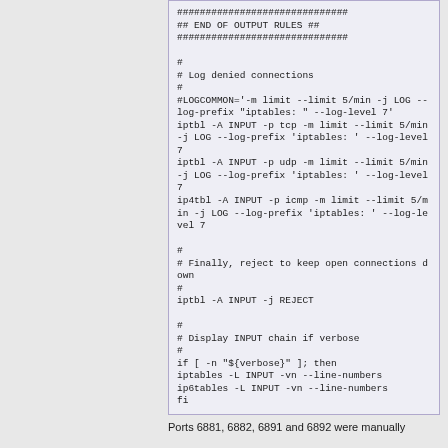[Figure (screenshot): Code block showing shell script fragment: END OF OUTPUT RULES section header with hash separators, log denied connections commands using iptbl/ip4tbl with LOG targets, reject rule, and verbose INPUT chain display using iptables/ip6tables]
Ports 6881, 6882, 6891 and 6892 were manually